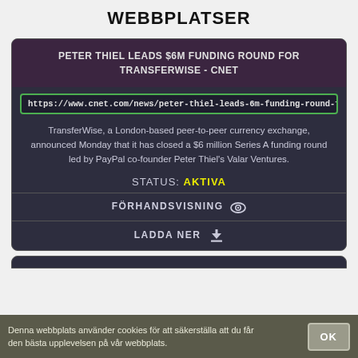WEBBPLATSER
PETER THIEL LEADS $6M FUNDING ROUND FOR TRANSFERWISE - CNET
https://www.cnet.com/news/peter-thiel-leads-6m-funding-round-for-tran
TransferWise, a London-based peer-to-peer currency exchange, announced Monday that it has closed a $6 million Series A funding round led by PayPal co-founder Peter Thiel's Valar Ventures.
STATUS: AKTIVA
FÖRHANDSVISNING
LADDA NER
Denna webbplats använder cookies för att säkerställa att du får den bästa upplevelsen på vår webbplats.